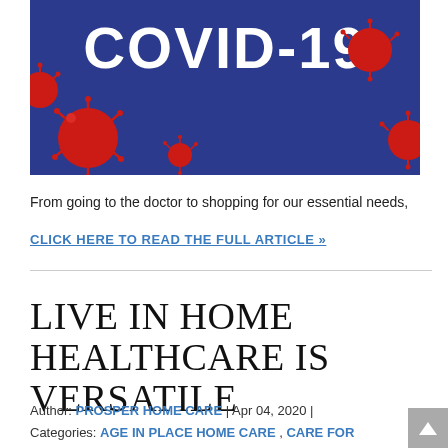[Figure (photo): COVID-19 banner image with dark blue background, white bold text reading 'COVID-19', and red coronavirus ball models scattered around.]
From going to the doctor to shopping for our essential needs,
CLICK HERE TO READ THE FULL ARTICLE »
LIVE IN HOME HEALTHCARE IS VERSATILE
Author: PROSPER HOME CARE | Apr 04, 2020 |
Categories: AGE IN PLACE HOME CARE , CARE FOR